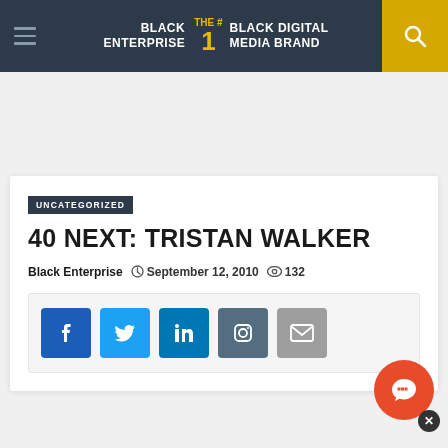BLACK ENTERPRISE THE #1 BLACK DIGITAL MEDIA BRAND
UNCATEGORIZED
40 NEXT: TRISTAN WALKER
Black Enterprise  September 12, 2010  132
[Figure (infographic): Social share buttons: Facebook, Twitter, LinkedIn, Instagram, Email]